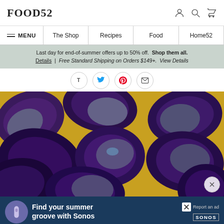FOOD52
MENU | The Shop | Recipes | Food | Home52
Last day for end-of-summer offers up to 50% off. Shop them all. Details | Free Standard Shipping on Orders $149+. View Details
[Figure (screenshot): Social share icon buttons: T (Tumblr), Twitter bird, Pinterest P, Email envelope]
[Figure (photo): Close-up photo of cut purple potatoes on a wooden cutting board]
[Figure (screenshot): Advertisement banner: Find your summer groove with Sonos. Dark blue background with Sonos speaker image and Sonos logo.]